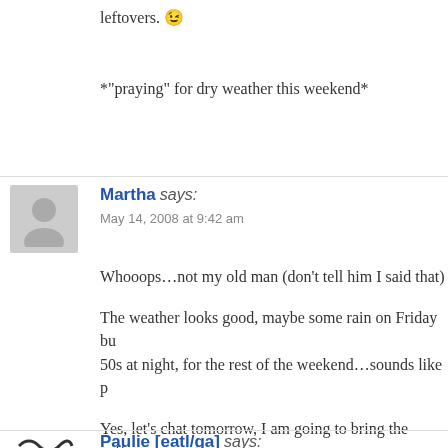leftovers. 😉
*"praying" for dry weather this weekend*
Martha says:
May 14, 2008 at 9:42 am
Whooops…not my old man (don't tell him I said that)
The weather looks good, maybe some rain on Friday bu 50s at night, for the rest of the weekend…sounds like p
Yes, let's chat tomorrow, I am going to bring the coffee should handle at least 2 campsites.
Paulie [eatl/ga] says:
May 14, 2008 at 9:54 pm